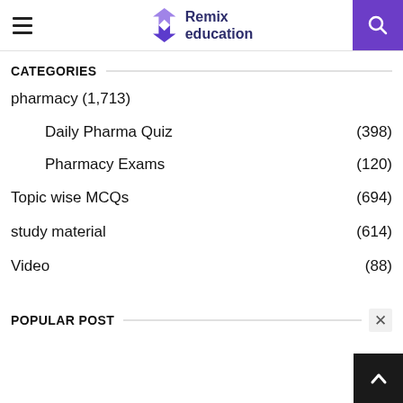Remix education
CATEGORIES
pharmacy (1,713)
Daily Pharma Quiz (398)
Pharmacy Exams (120)
Topic wise MCQs (694)
study material (614)
Video (88)
POPULAR POST